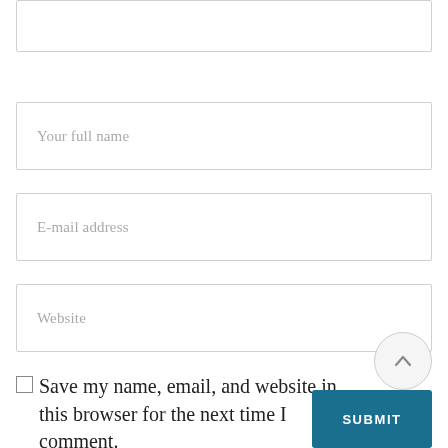[Figure (screenshot): Partial form field at top of page (cropped textarea/input box, no label visible)]
Your full name
E-mail address
Website
Save my name, email, and website in this browser for the next time I comment.
[Figure (other): Circular scroll-to-top button with upward arrow icon]
SUBMIT